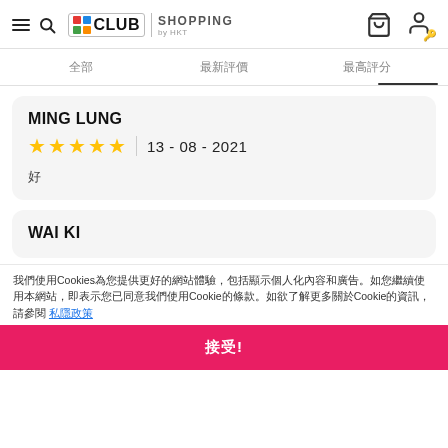CLUB SHOPPING by HKT — navigation header with search, bag, and user icons
全部  最新評價  最高評分
MING LUNG
★★★★★  13 - 08 - 2021
好
WAI KI
我們使用Cookies為您提供更好的網站體驗，包括顯示個人化內容和廣告。如您繼續使用本網站，即表示您已同意我們使用Cookie的條款。如欲了解更多關於Cookie的資訊，請參閱 私隱政策
接受!